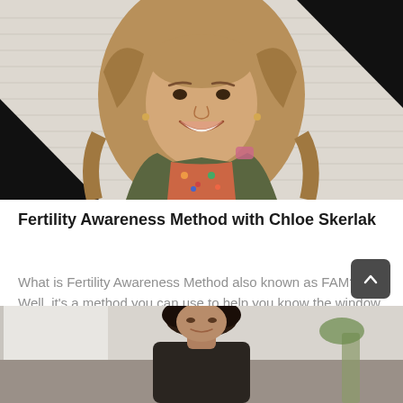[Figure (photo): A smiling woman with long wavy brown hair, wearing a floral top and olive jacket, standing in front of a white brick wall with black geometric triangle shapes in the corners.]
Fertility Awareness Method with Chloe Skerlak
What is Fertility Awareness Method also known as FAM? Well, it's a method you can use to help you know the window in which you
[Figure (photo): Partial view of a woman with curly dark hair, partially cropped at the bottom of the page.]